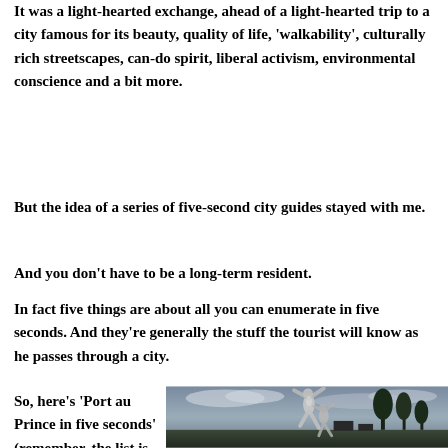It was a light-hearted exchange, ahead of a light-hearted trip to a city famous for its beauty, quality of life, 'walkability', culturally rich streetscapes, can-do spirit, liberal activism, environmental conscience and a bit more.
But the idea of a series of five-second city guides stayed with me.
And you don't have to be a long-term resident.
In fact five things are about all you can enumerate in five seconds. And they're generally the stuff the tourist will know as he passes through a city.
So, here's 'Port au Prince in five seconds' (remember, the list is subjective):
[Figure (photo): A silver metallic sculpture of intertwined human figures photographed against a dusk sky with palm trees and buildings in the background.]